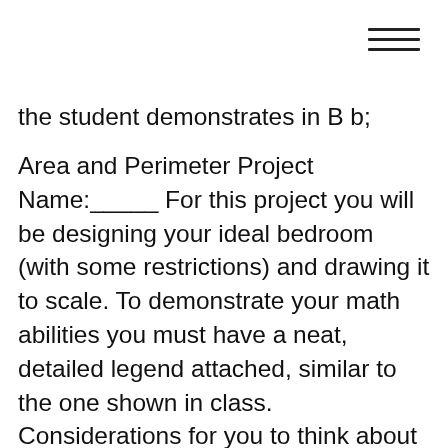the student demonstrates in B b;
Area and Perimeter Project Name:_____ For this project you will be designing your ideal bedroom (with some restrictions) and drawing it to scale. To demonstrate your math abilities you must have a neat, detailed legend attached, similar to the one shown in class. Considerations for you to think about include: Go Online to www.everydaymath.com to view the Student Reference book pp. 131-136 for Unit 8 review. Click on book icon to visit the Everyday Math website. Be sure to have your username and password. Use the pages below to practice finding the area and perimeter of various